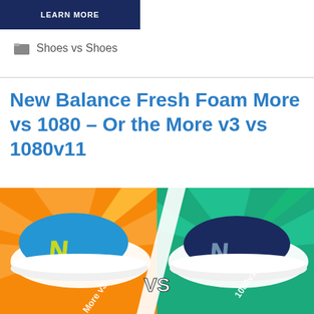LEARN MORE
Shoes vs Shoes
New Balance Fresh Foam More vs 1080 – Or the More v3 vs 1080v11
[Figure (photo): Comparison image of two New Balance running shoes side by side. On the left, a bright blue Fresh Foam More v3 on an orange/yellow sunburst background. On the right, a dark navy 1080v11 on a teal/green background. Large 'VS' text in the center, with 'More v3' and '1080v11' text overlaid on respective sides.]